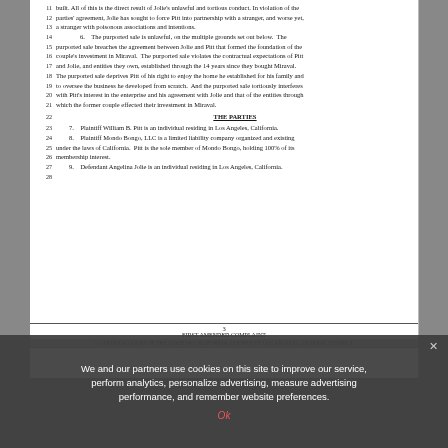11   built. All of this is the direct result of Jolie's unlawful and tortious conduct. In violation of the
12   parties' agreement, Jolie has sought to force Pitt into partnership with a stranger, and worse yet,
13   a stranger with poisonous associations and intentions.
14   6.   The purported sale is unlawful, on the multiple grounds set out below. The
15   purported sale breaches the agreement between Jolie and Pitt that formed the foundation of the
16   couple's investment in Miraval. The purported sale violates the contractual expectations of Pitt
17   and Jolie, and entities they own, established through the 14 years since they bought Miraval.
18   The purported sale deprives Pitt of his right to enjoy the home he established for his family and
19   to oversee the business he developed from scratch. And the purported sale tortiously interferes
20   with Pitt's interest in the enterprise and his agreement with Jolie and that of the entities through
21   which the former couple effected their investment in Miraval.
THE PARTIES
23   7.   Plaintiff William B. Pitt is an individual residing in Los Angeles, California.
24   8.   Plaintiff Mondo Bongo, LLC is a limited liability company organized and existing
25   under the laws of California. Pitt is the sole member of Mondo Bongo, holding 100% of its
26   membership interest.
27   9.   Defendant Angelina Jolie is an individual residing in Los Angeles, California.
28
3
FIRST AMENDED COMPLAINT
© SUPERIOR COURT OF THE STATE OF CALIFORNIA, COUNTY OF LOS ANGELES, CENTRAL DISTRICT
We and our partners use cookies on this site to improve our service, perform analytics, personalize advertising, measure advertising performance, and remember website preferences.